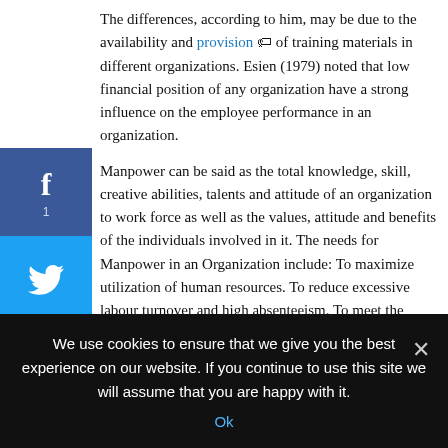The differences, according to him, may be due to the availability and provision of training materials in different organizations. Esien (1979) noted that low financial position of any organization have a strong influence on the employee performance in an organization.

Manpower can be said as the total knowledge, skill, creative abilities, talents and attitude of an organization to work force as well as the values, attitude and benefits of the individuals involved in it. The needs for Manpower in an Organization include: To maximize utilization of human resources. To reduce excessive labour turnover and high absenteeism. To meet the challenges of new and changing technology and also new techniques of production.
We use cookies to ensure that we give you the best experience on our website. If you continue to use this site we will assume that you are happy with it.